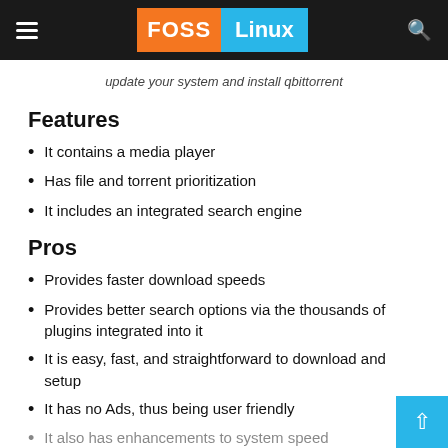FOSS Linux
update your system and install qbittorrent
Features
It contains a media player
Has file and torrent prioritization
It includes an integrated search engine
Pros
Provides faster download speeds
Provides better search options via the thousands of plugins integrated into it
It is easy, fast, and straightforward to download and setup
It has no Ads, thus being user friendly
It also has enhancements to system speed